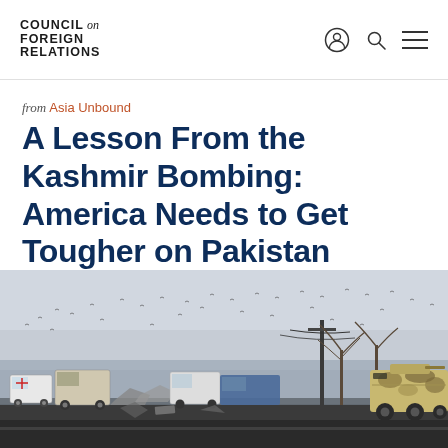COUNCIL on FOREIGN RELATIONS
from Asia Unbound
A Lesson From the Kashmir Bombing: America Needs to Get Tougher on Pakistan
[Figure (photo): Scene of the Kashmir bombing aftermath showing wrecked vehicles including ambulances and trucks along a road, with a military armored vehicle (camouflage pattern) on the right, bare trees in the background, and birds flying in a misty sky.]